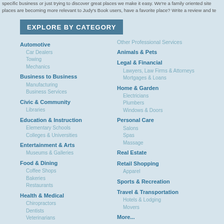specific business or just trying to discover great places we make it easy. We're a family oriented site places are becoming more relevant to Judy's Book users, have a favorite place? Write a review and te
EXPLORE BY CATEGORY
Automotive
Car Dealers
Towing
Mechanics
Business to Business
Manufacturing
Business Services
Civic & Community
Libraries
Education & Instruction
Elementary Schools
Colleges & Universities
Entertainment & Arts
Museums & Galleries
Food & Dining
Coffee Shops
Bakeries
Restaurants
Health & Medical
Chiropractors
Dentists
Veterinarians
Other Professional Services
Animals & Pets
Legal & Financial
Lawyers, Law Firms & Attorneys
Mortgages & Loans
Home & Garden
Electricians
Plumbers
Windows & Doors
Personal Care
Salons
Spas
Massage
Real Estate
Retail Shopping
Apparel
Sports & Recreation
Travel & Transportation
Hotels & Lodging
Movers
More...